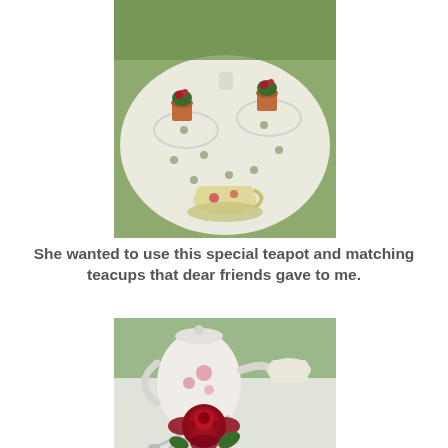[Figure (photo): Overhead view of a round table with a white lace tablecloth. Small terracotta pots with red flowers sit on glass plates, and a yellow floral teacup and saucer is in the foreground. Greenery surrounds the table.]
She wanted to use this special teapot and matching teacups that dear friends gave to me.
[Figure (photo): Close-up of a white floral teapot with pink roses, teacups, silver spoons, and a deep red/burgundy rose bloom in the foreground on a table setting.]